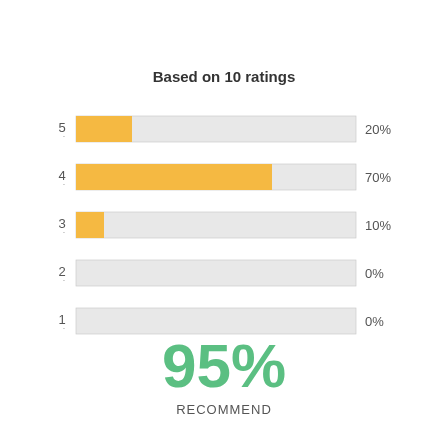[Figure (bar-chart): Based on 10 ratings]
95%
RECOMMEND